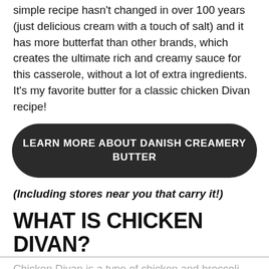simple recipe hasn't changed in over 100 years (just delicious cream with a touch of salt) and it has more butterfat than other brands, which creates the ultimate rich and creamy sauce for this casserole, without a lot of extra ingredients. It's my favorite butter for a classic chicken Divan recipe!
LEARN MORE ABOUT DANISH CREAMERY BUTTER
(Including stores near you that carry it!)
WHAT IS CHICKEN DIVAN?
Chicken Divan is a type of chicken and broccoli